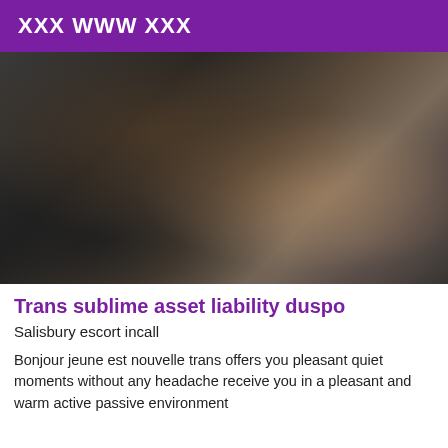XXX WWW XXX
[Figure (photo): Close-up photo of a person wearing fishnet/mesh clothing lying down]
Trans sublime asset liability duspo
Salisbury escort incall
Bonjour jeune est nouvelle trans offers you pleasant quiet moments without any headache receive you in a pleasant and warm active passive environment